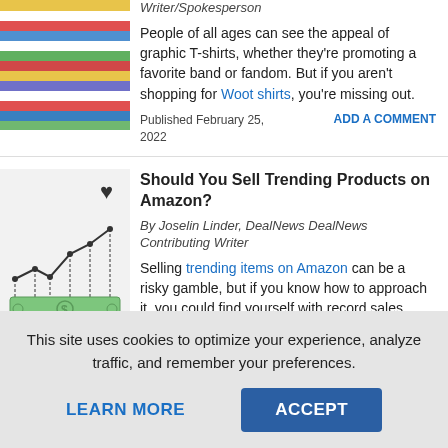[Figure (photo): Stack of colorful folded graphic T-shirts]
Writer/Spokesperson
People of all ages can see the appeal of graphic T-shirts, whether they're promoting a favorite band or fandom. But if you aren't shopping for Woot shirts, you're missing out.
Published February 25, 2022
ADD A COMMENT
[Figure (illustration): Illustration of a line chart above a green dollar bill graphic with a heart icon overlay]
Should You Sell Trending Products on Amazon?
By Joselin Linder, DealNews DealNews Contributing Writer
Selling trending items on Amazon can be a risky gamble, but if you know how to approach it, you could find yourself with record sales.
Published February 24,
ADD A COMMENT
This site uses cookies to optimize your experience, analyze traffic, and remember your preferences.
LEARN MORE
ACCEPT